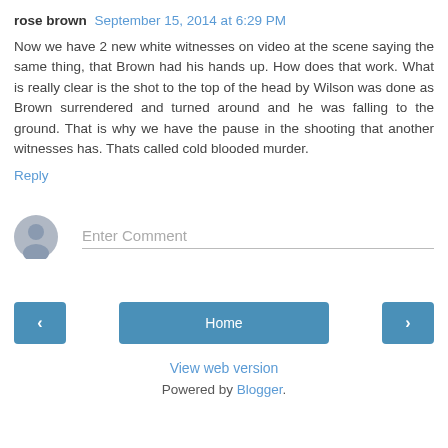rose brown  September 15, 2014 at 6:29 PM
Now we have 2 new white witnesses on video at the scene saying the same thing, that Brown had his hands up. How does that work. What is really clear is the shot to the top of the head by Wilson was done as Brown surrendered and turned around and he was falling to the ground. That is why we have the pause in the shooting that another witnesses has. Thats called cold blooded murder.
Reply
Enter Comment
Home
View web version
Powered by Blogger.